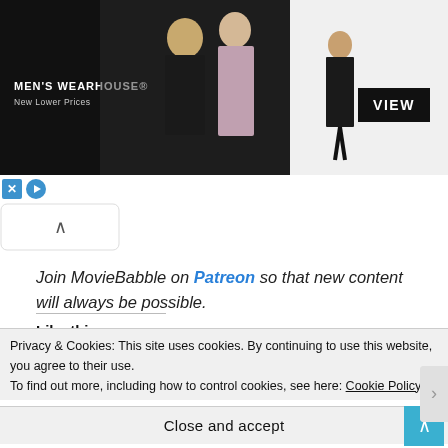[Figure (screenshot): Men's Wearhouse advertisement banner showing a couple in formal wedding attire on the left, a man in a tuxedo on the right, with a black 'VIEW' button and 'New Lower Prices' tagline]
[Figure (screenshot): Small ad control icons: X close button and play/ad indicator button]
[Figure (screenshot): Up-arrow navigation button in white rounded box]
Join MovieBabble on Patreon so that new content will always be possible.
Like this:
[Figure (screenshot): Like button with star icon and user avatar thumbnails]
Privacy & Cookies: This site uses cookies. By continuing to use this website, you agree to their use.
To find out more, including how to control cookies, see here: Cookie Policy
Close and accept